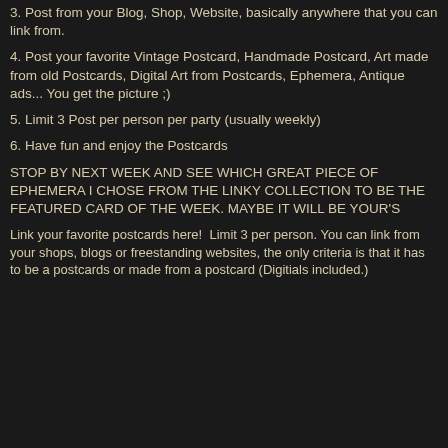3. Post from your Blog, Shop, Website, basically anywhere that you can link from.
4. Post your favorite Vintage Postcard, Handmade Postcard, Art made from old Postcards, Digital Art from Postcards, Ephemera, Antique ads... You get the picture ;)
5. Limit 3 Post per person per party (usually weekly)
6. Have fun and enjoy the Postcards
STOP BY NEXT WEEK AND SEE WHICH GREAT PIECE OF EPHEMERA I CHOSE FROM THE LINKY COLLECTION TO BE THE FEATURED CARD OF THE WEEK. MAYBE IT WILL BE YOUR'S
Link your favorite postcards here!  Limit 3 per person. You can link from your shops, blogs or freestanding websites, the only criteria is that it has to be a postcards or made from a postcard (Digitials included.)